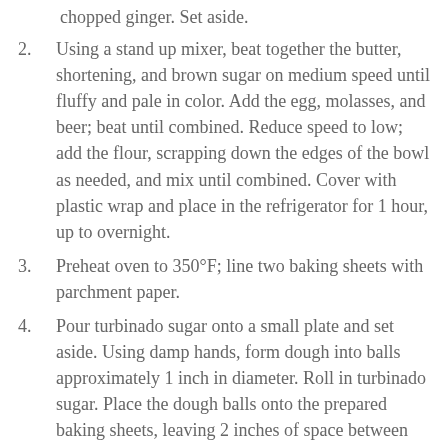chopped ginger. Set aside.
2. Using a stand up mixer, beat together the butter, shortening, and brown sugar on medium speed until fluffy and pale in color. Add the egg, molasses, and beer; beat until combined. Reduce speed to low; add the flour, scrapping down the edges of the bowl as needed, and mix until combined. Cover with plastic wrap and place in the refrigerator for 1 hour, up to overnight.
3. Preheat oven to 350°F; line two baking sheets with parchment paper.
4. Pour turbinado sugar onto a small plate and set aside. Using damp hands, form dough into balls approximately 1 inch in diameter. Roll in turbinado sugar. Place the dough balls onto the prepared baking sheets, leaving 2 inches of space between each cookie as they will expand during baking. Do not flatten. Position in the center of the oven and